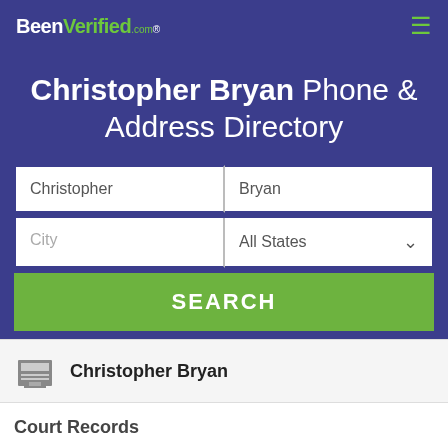BeenVerified.com
Christopher Bryan Phone & Address Directory
Christopher | Bryan
City | All States
SEARCH
Christopher Bryan
Court Records